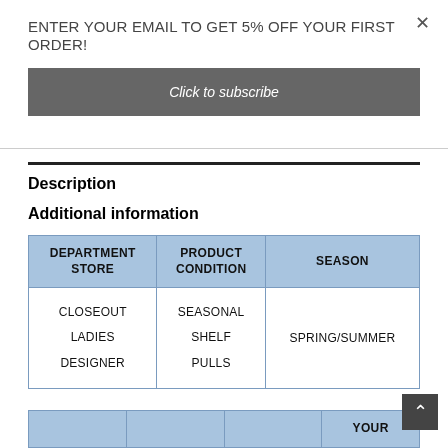ENTER YOUR EMAIL TO GET 5% OFF YOUR FIRST ORDER!
Click to subscribe
Description
Additional information
| DEPARTMENT STORE | PRODUCT CONDITION | SEASON |
| --- | --- | --- |
| CLOSEOUT
LADIES
DESIGNER | SEASONAL
SHELF
PULLS | SPRING/SUMMER |
|  |  |  | YOUR |
| --- | --- | --- | --- |